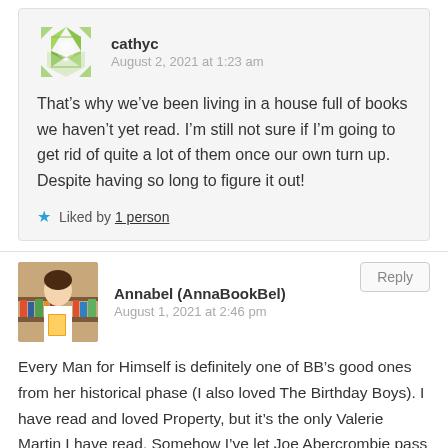[Figure (other): User avatar for cathyc, green geometric pattern icon]
cathyc
August 2, 2021 at 1:23 am
That’s why we’ve been living in a house full of books we haven’t yet read. I’m still not sure if I’m going to get rid of quite a lot of them once our own turn up. Despite having so long to figure it out!
Liked by 1 person
[Figure (photo): Profile photo of Annabel (AnnaBookBel), a woman holding a book]
Annabel (AnnaBookBel)
August 1, 2021 at 2:46 pm
Every Man for Himself is definitely one of BB’s good ones from her historical phase (I also loved The Birthday Boys). I have read and loved Property, but it’s the only Valerie Martin I have read. Somehow I’ve let Joe Abercrombie pass me by – I should